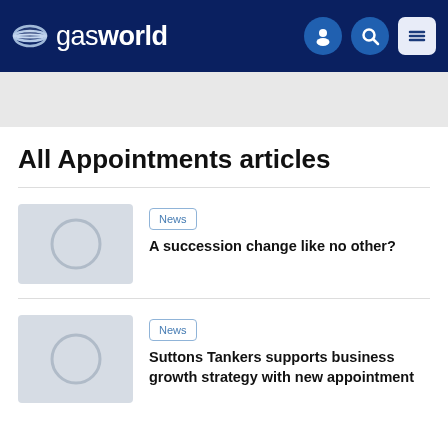gasworld
All Appointments articles
News | A succession change like no other?
News | Suttons Tankers supports business growth strategy with new appointment